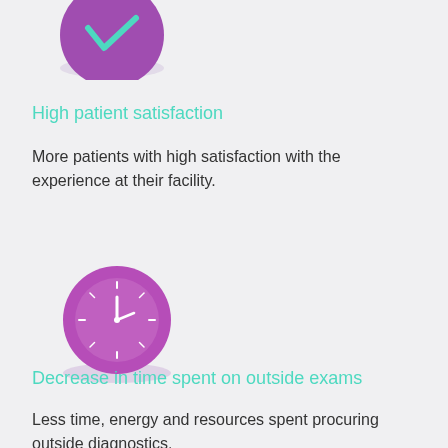[Figure (illustration): Purple circle icon with a white downward chevron/check mark inside, partially visible at top of page]
High patient satisfaction
More patients with high satisfaction with the experience at their facility.
[Figure (illustration): Purple circle icon with a white clock face showing tick marks and clock hands]
Decrease in time spent on outside exams
Less time, energy and resources spent procuring outside diagnostics.